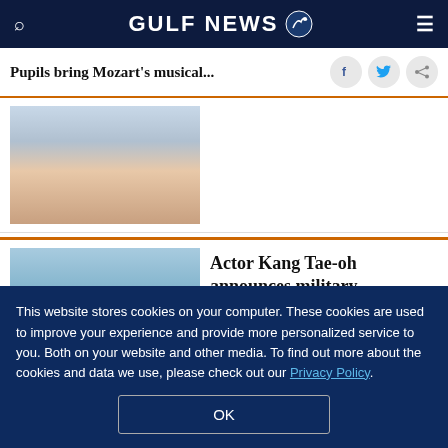GULF NEWS
Pupils bring Mozart's musical...
[Figure (photo): Partial photo of a woman, upper body visible, wearing a dark strap top, with dark hair]
[Figure (photo): Photo of actor Kang Tae-oh, a young Asian man with short dark hair, smiling, wearing a dark jacket, against a light blue background]
Actor Kang Tae-oh announces military enlistment date
This website stores cookies on your computer. These cookies are used to improve your experience and provide more personalized service to you. Both on your website and other media. To find out more about the cookies and data we use, please check out our Privacy Policy.
OK